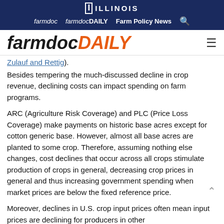ILLINOIS | farmdoc | farmdocDAILY | Farm Policy News
[Figure (logo): farmdocDAILY logo with hamburger menu icon]
Zulauf and Rettig).
Besides tempering the much-discussed decline in crop revenue, declining costs can impact spending on farm programs.
ARC (Agriculture Risk Coverage) and PLC (Price Loss Coverage) make payments on historic base acres except for cotton generic base. However, almost all base acres are planted to some crop. Therefore, assuming nothing else changes, cost declines that occur across all crops stimulate production of crops in general, decreasing crop prices in general and thus increasing government spending when market prices are below the fixed reference price.
Moreover, declines in U.S. crop input prices often mean input prices are declining for producers in other